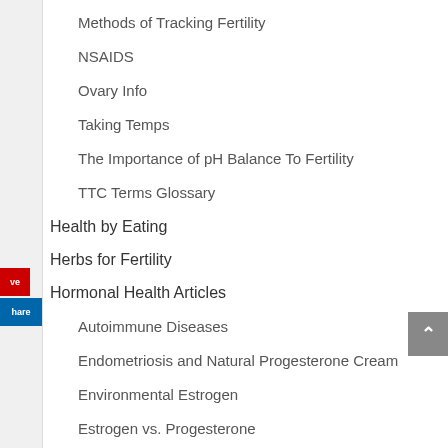Methods of Tracking Fertility
NSAIDS
Ovary Info
Taking Temps
The Importance of pH Balance To Fertility
TTC Terms Glossary
Health by Eating
Herbs for Fertility
Hormonal Health Articles
Autoimmune Diseases
Endometriosis and Natural Progesterone Cream
Environmental Estrogen
Estrogen vs. Progesterone
FAQ Menstruation
Fibroids